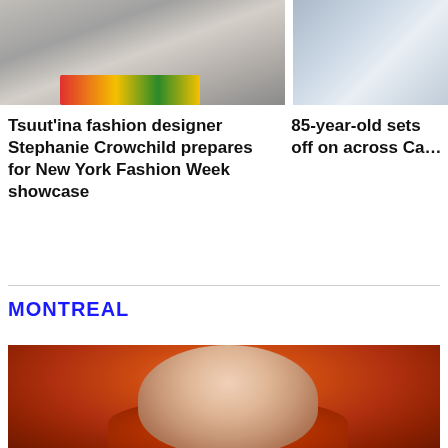[Figure (photo): Photo of fashion items on a table with a striped blanket or textile with red, green, and yellow stripes]
[Figure (photo): Partial photo on the right side, appears to show clothing or fabric on a surface]
Tsuut'ina fashion designer Stephanie Crowchild prepares for New York Fashion Week showcase
85-year-old sets off on across Ca
MONTREAL
[Figure (photo): Older man wearing glasses and a red ecclesiastical robe or ceremonial garment, smiling, with other people in red robes in the background]